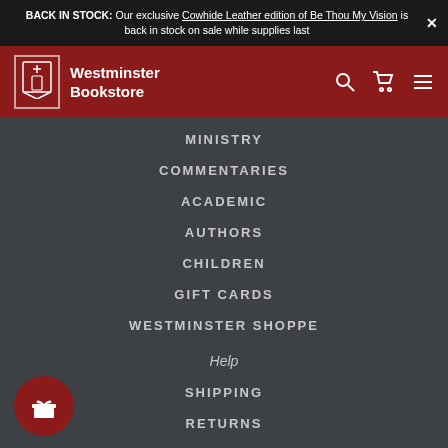BACK IN STOCK: Our exclusive Cowhide Leather edition of Be Thou My Vision is back in stock on sale while supplies last
[Figure (logo): Westminster Bookstore logo with church icon in red navigation bar]
MINISTRY
COMMENTARIES
ACADEMIC
AUTHORS
CHILDREN
GIFT CARDS
WESTMINSTER SHOPPE
Help
SHIPPING
RETURNS
FAQ
CONTACT US
ACCOUNT